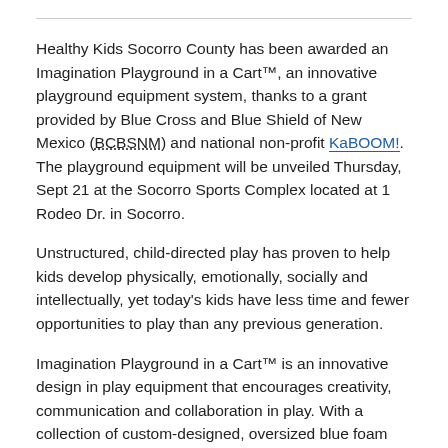Healthy Kids Socorro County has been awarded an Imagination Playground in a Cart™, an innovative playground equipment system, thanks to a grant provided by Blue Cross and Blue Shield of New Mexico (BCBSNM) and national non-profit KaBOOM!. The playground equipment will be unveiled Thursday, Sept 21 at the Socorro Sports Complex located at 1 Rodeo Dr. in Socorro.
Unstructured, child-directed play has proven to help kids develop physically, emotionally, socially and intellectually, yet today's kids have less time and fewer opportunities to play than any previous generation.
Imagination Playground in a Cart™ is an innovative design in play equipment that encourages creativity, communication and collaboration in play. With a collection of custom-designed, oversized blue foam parts, Imagination Playground™ provides a changing